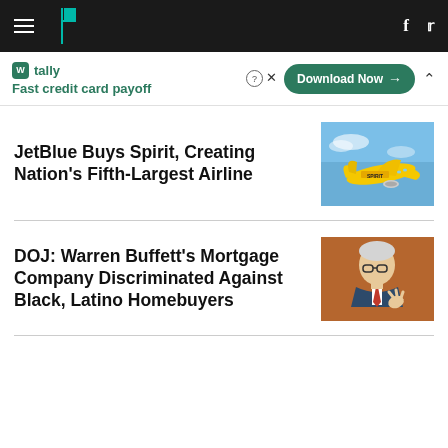HuffPost navigation bar with hamburger menu, logo, Facebook and Twitter icons
[Figure (screenshot): Tally app advertisement banner: 'Fast credit card payoff' with Download Now button]
JetBlue Buys Spirit, Creating Nation's Fifth-Largest Airline
[Figure (photo): Yellow Spirit Airlines airplane in flight against blue sky]
DOJ: Warren Buffett's Mortgage Company Discriminated Against Black, Latino Homebuyers
[Figure (photo): Warren Buffett gesturing with hand, wearing suit and red tie]